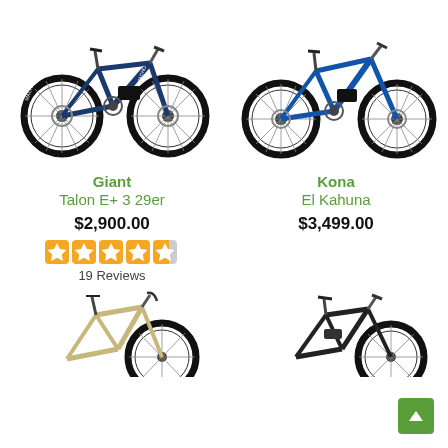[Figure (photo): Blue Giant Talon E+ 3 29er electric mountain bike, side view on white background]
[Figure (photo): Blue Kona El Kahuna electric mountain bike, side view on white background]
Giant
Talon E+ 3 29er
$2,900.00
[Figure (other): 4.5 out of 5 stars rating displayed as orange star boxes]
19 Reviews
Kona
El Kahuna
$3,499.00
[Figure (photo): Partial view of a tan/gold road or gravel bike at the bottom left]
[Figure (photo): Partial view of a black e-bike at the bottom right]